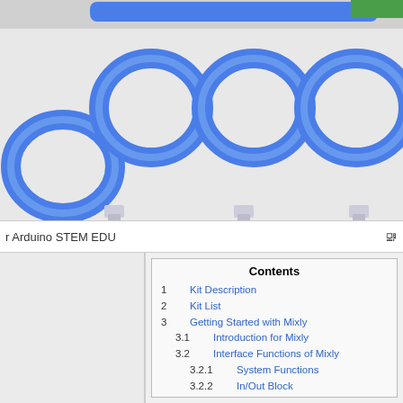[Figure (photo): Blue RJ45 ethernet cable coils arranged in a row against a light background, with a partial view of a green Arduino board in the top right corner]
r Arduino STEM EDU
Contents
1 Kit Description
2 Kit List
3 Getting Started with Mixly
3.1 Introduction for Mixly
3.2 Interface Functions of Mixly
3.2.1 System Functions
3.2.2 In/Out Block
3.2.3 Control Block
3.2.4 Math Block
3.2.5 Text Block
3.2.6 List Block